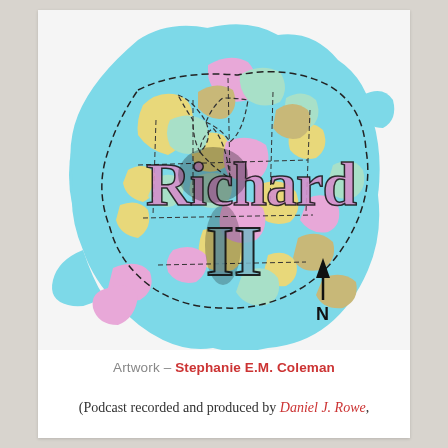[Figure (illustration): Colorful illustrated map-like artwork showing a shape resembling England with pastel colored regions (pink, yellow, mint green, tan) outlined with dashed black lines, with the text 'Richard II' written in large decorative black calligraphic lettering over the map, and a north arrow compass indicator in the lower right area. Background is light blue.]
Artwork – Stephanie E.M. Coleman
(Podcast recorded and produced by Daniel J. Rowe,